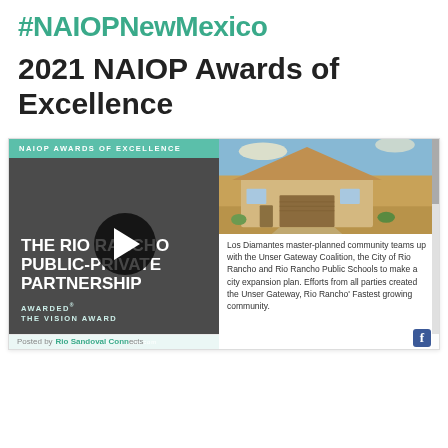#NAIOPNewMexico
2021 NAIOP Awards of Excellence
[Figure (screenshot): A social media post screenshot showing a NAIOP Awards of Excellence card. Left panel: dark gray background with teal header bar reading 'NAIOP AWARDS OF EXCELLENCE', bold white text 'THE RIO RANCHO PUBLIC-PRIVATE PARTNERSHIP AWARDED THE VISION AWARD', with a play button overlay. Right panel: photo of a single-story house (Los Diamantes master-planned community) and descriptive text. Posted by Rio Sandoval Connects watermark at bottom.]
Los Diamantes master-planned community teams up with the Unser Gateway Coalition, the City of Rio Rancho and Rio Rancho Public Schools to make a city expansion plan. Efforts from all parties created the Unser Gateway, Rio Rancho's Fastest growing community.
Posted by Rio Sandoval Connects · riosandovalconnects.com